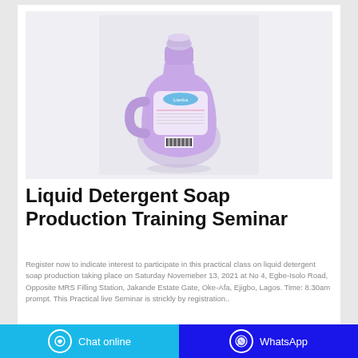[Figure (photo): Purple/lavender liquid detergent soap bottle with label, photographed against a light grey background]
Liquid Detergent Soap Production Training Seminar
Register now to indicate interest to participate in this practical class on liquid detergent soap production taking place on Saturday Novemeber 13, 2021 at No 4, Egbe-Isolo Road, Opposite MRS Filling Station, Jakande Estate Gate, Oke-Afa, Ejigbo, Lagos. Time: 8.30am prompt. This Practical live Seminar is strickly by registration..
Chat online   WhatsApp